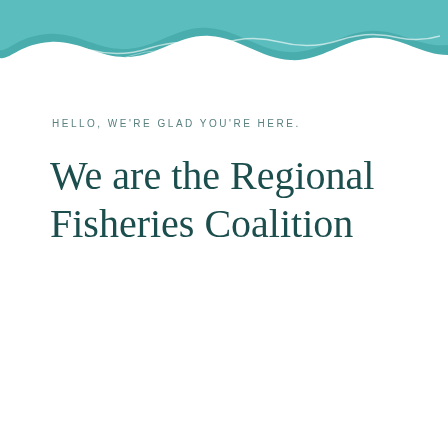[Figure (illustration): Teal/turquoise wave design decorating the top of the page, with stylized ocean wave shapes in teal color with white wave highlights]
HELLO, WE'RE GLAD YOU'RE HERE.
We are the Regional Fisheries Coalition